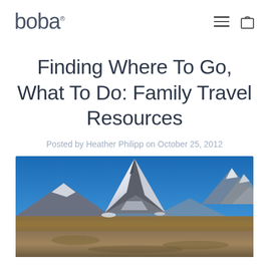boba
Finding Where To Go, What To Do: Family Travel Resources
Posted by Heather Philipp on October 25, 2012
[Figure (photo): Landscape photograph of the Matterhorn mountain with snow-capped peak against a clear blue sky, with rocky alpine terrain and golden grass in the foreground]